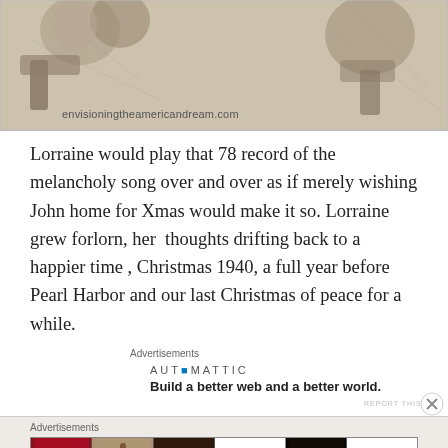[Figure (illustration): Sketch/illustration image with envisioning the American dream watermark, showing figures in pencil/charcoal style. URL watermark: envisioningtheamericandream.com]
Lorraine would play that 78 record of the melancholy song over and over as if merely wishing John home for Xmas would make it so. Lorraine grew forlorn, her thoughts drifting back to a happier time , Christmas 1940, a full year before Pearl Harbor and our last Christmas of peace for a while.
Advertisements
[Figure (logo): AUTOMATTIC logo with dot in blue. Tagline: Build a better web and a better world.]
REPORT THIS AD
Advertisements
[Figure (photo): ULTA beauty advertisement banner showing close-up cosmetics imagery: lips with lipstick, makeup brush, eye with makeup, ULTA Beauty logo, dramatic eye makeup, and SHOP NOW call to action.]
REPORT THIS AD